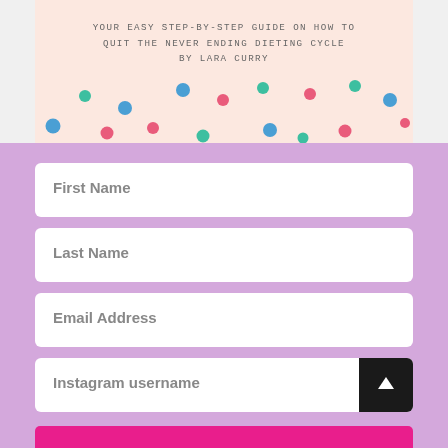[Figure (illustration): Book cover with peach/pink background, text reading 'YOUR EASY STEP-BY-STEP GUIDE ON HOW TO QUIT THE NEVER ENDING DIETING CYCLE BY LARA CURRY' and colorful decorative dots (teal, pink, blue) scattered across the lower portion]
First Name
Last Name
Email Address
Instagram username